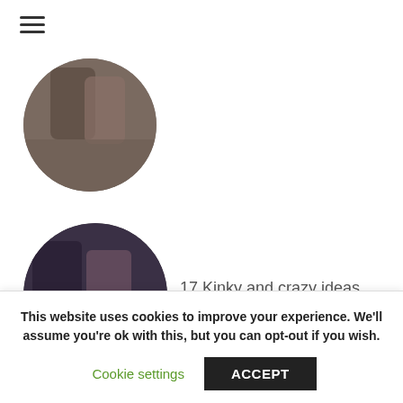≡
[Figure (photo): Circular cropped photo of a couple, partially visible at top of page]
[Figure (photo): Circular cropped photo of a couple at a dinner table with wine and food]
17 Kinky and crazy ideas every couple should try
[Figure (photo): Circular cropped photo of two women outdoors on grass]
16 Types Of Dates Every Couple
This website uses cookies to improve your experience. We'll assume you're ok with this, but you can opt-out if you wish.
Cookie settings
ACCEPT